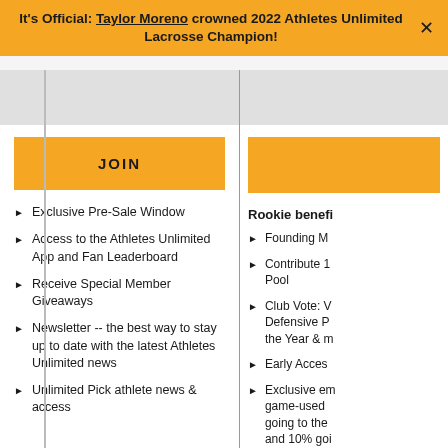It's Official: Taylor Moreno crowned 2022 Athletes Unlimited Lacrosse Champion!
[Figure (other): Gray image area top of left column]
JOIN
Exclusive Pre-Sale Window
Access to the Athletes Unlimited App and Fan Leaderboard
Receive Special Member Giveaways
Newsletter -- the best way to stay up to date with the latest Athletes Unlimited news
Unlimited Pick athlete news & access
[Figure (other): Gray image area top of right column]
[Figure (other): Orange button area (right column)]
Rookie benefi
Founding M
Contribute 1 Pool
Club Vote: V Defensive P the Year & m
Early Acces
Exclusive em game-used going to the and 10% goi